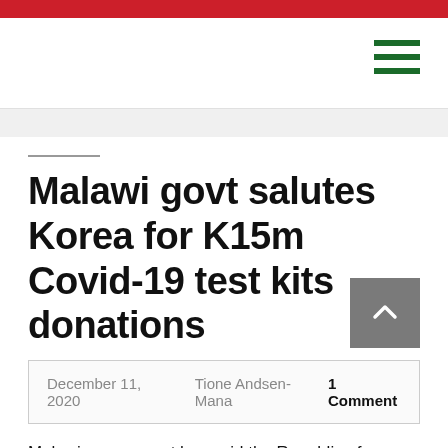Malawi govt salutes Korea for K15m Covid-19 test kits donations
December 11, 2020   Tione Andsen- Mana  1 Comment
Malawi government has said the Republic of Korea's donation of Covid-19 test kits valued at US$200 000 (about K15 million)n to help strengthen the country's